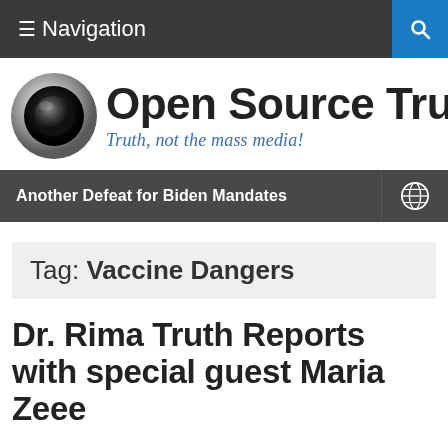≡ Navigation
[Figure (logo): Open Source Truth logo with silver circle/lens icon and text 'Open Source Truth' with tagline 'Truth, not the mass media!']
Another Defeat for Biden Mandates
Tag: Vaccine Dangers
Dr. Rima Truth Reports with special guest Maria Zeee